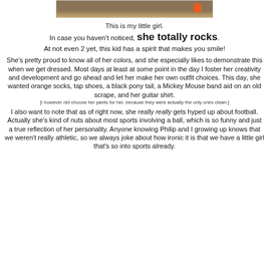[Figure (photo): Partial photo of a child on grass wearing orange, partially cropped at top]
This is my little girl.
In case you haven't noticed, she totally rocks. At not even 2 yet, this kid has a spirit that makes you smile!
She's pretty proud to know all of her colors, and she especially likes to demonstrate this when we get dressed. Most days at least at some point in the day I foster her creativity and development and go ahead and let her make her own outfit choices. This day, she wanted orange socks, tap shoes, a black pony tail, a Mickey Mouse band aid on an old scrape, and her guitar shirt.
[I however did choose her pants for her, because they were actually the only ones clean.]
I also want to note that as of right now, she really really gets hyped up about football. Actually she's kind of nuts about most sports involving a ball, which is so funny and just a true reflection of her personality. Anyone knowing Philip and I growing up knows that we weren't really athletic, so we always joke about how ironic it is that we have a little girl that's so into sports already.